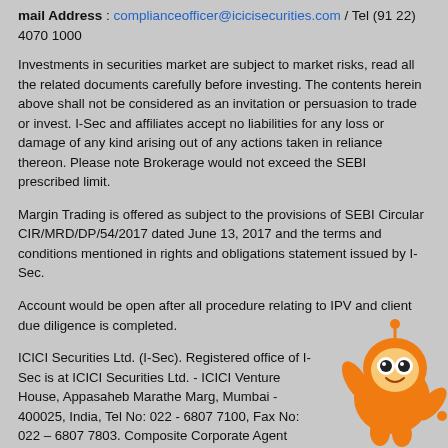mail Address : complianceofficer@icicisecurities.com / Tel (91 22) 4070 1000
Investments in securities market are subject to market risks, read all the related documents carefully before investing. The contents herein above shall not be considered as an invitation or persuasion to trade or invest. I-Sec and affiliates accept no liabilities for any loss or damage of any kind arising out of any actions taken in reliance thereon. Please note Brokerage would not exceed the SEBI prescribed limit.
Margin Trading is offered as subject to the provisions of SEBI Circular CIR/MRD/DP/54/2017 dated June 13, 2017 and the terms and conditions mentioned in rights and obligations statement issued by I-Sec.
Account would be open after all procedure relating to IPV and client due diligence is completed.
ICICI Securities Ltd. (I-Sec). Registered office of I-Sec is at ICICI Securities Ltd. - ICICI Venture House, Appasaheb Marathe Marg, Mumbai - 400025, India, Tel No: 022 - 6807 7100, Fax No: 022 – 6807 7803. Composite Corporate Agent License No.CA0113. Insurance is the subject matter of solicitation. ICICI Securities Ltd. does not underwrite the risk or act as an insurer. The advertisement contains only an indication of the cover offered. For more details on risk factors, terms, conditions and exclusions, please read the sales
[Figure (illustration): Orange cartoon mascot character, a round smiling robot/figure with large eyes, pointing with one hand, positioned at bottom right corner]